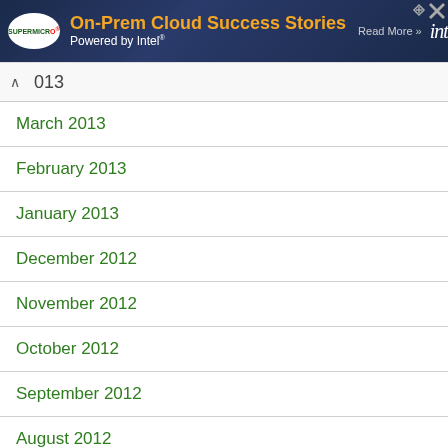[Figure (screenshot): Advertisement banner for Supermicro On-Prem Cloud Success Stories powered by Intel. Dark blue background with Supermicro logo, orange headline text, and Intel logo.]
013
March 2013
February 2013
January 2013
December 2012
November 2012
October 2012
September 2012
August 2012
July 2012
June 2012